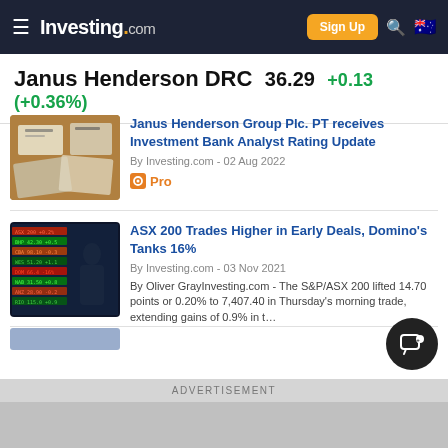Investing.com
Janus Henderson DRC 36.29 +0.13 (+0.36%)
[Figure (screenshot): Newspaper rolls thumbnail for Janus Henderson news article]
Janus Henderson Group Plc. PT receives Investment Bank Analyst Rating Update
By Investing.com - 02 Aug 2022
Pro
[Figure (screenshot): Stock market board with person silhouette thumbnail for ASX 200 article]
ASX 200 Trades Higher in Early Deals, Domino's Tanks 16%
By Investing.com - 03 Nov 2021
By Oliver GrayInvesting.com - The S&P/ASX 200 lifted 14.70 points or 0.20% to 7,407.40 in Thursday's morning trade, extending gains of 0.9% in t…
ADVERTISEMENT